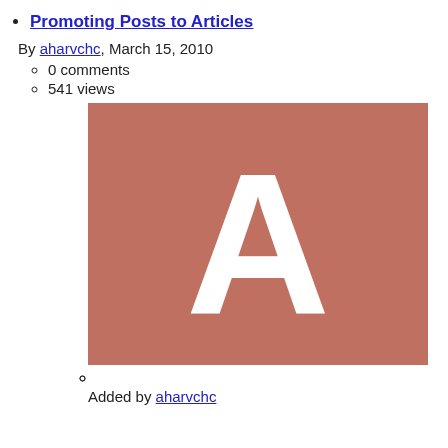Promoting Posts to Articles
By aharvchc, March 15, 2010
0 comments
541 views
[Figure (illustration): A square image with a muted rose/salmon colored background featuring a large white letter A centered in the image]
Added by aharvchc